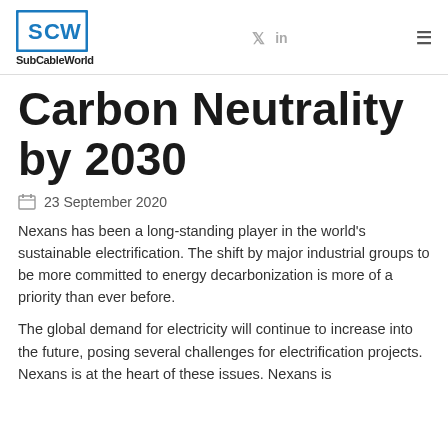SubCableWorld
Carbon Neutrality by 2030
23 September 2020
Nexans has been a long-standing player in the world's sustainable electrification. The shift by major industrial groups to be more committed to energy decarbonization is more of a priority than ever before.
The global demand for electricity will continue to increase into the future, posing several challenges for electrification projects. Nexans is at the heart of these issues. Nexans is